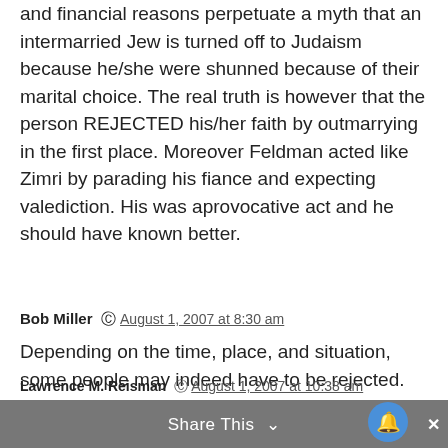and financial reasons perpetuate a myth that an intermarried Jew is turned off to Judaism because he/she were shunned because of their marital choice. The real truth is however that the person REJECTED his/her faith by outmarrying in the first place. Moreover Feldman acted like Zimri by parading his fiance and expecting valediction. His was aprovocative act and he should have known better.
Bob Miller  August 1, 2007 at 8:30 am
Depending on the time, place, and situation, some people may indeed have to be rejected. Those who do the rejecting need to explain themselves as best they can, even if the rejected person won't buy it.
Share This ∨
Lawrence M. Reisman  August 1, 2007 at 10:38 am